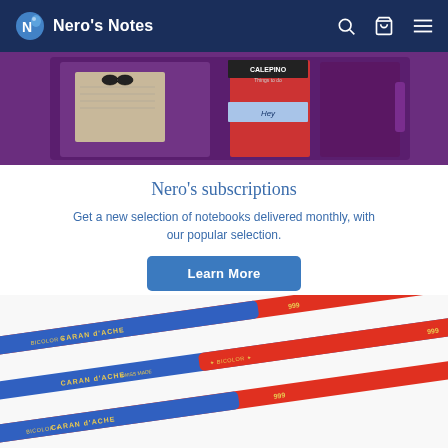Nero's Notes
[Figure (photo): Product photo showing a purple notebook wallet/organizer with Calepino notebooks, sticky notes, and stationery items arranged inside]
Nero’s subscriptions
Get a new selection of notebooks delivered monthly, with our popular selection.
Learn More
[Figure (photo): Close-up photo of Caran d'Ache Bicolor 999 pencils, showing blue and red pencils with gold text labeling arranged diagonally]